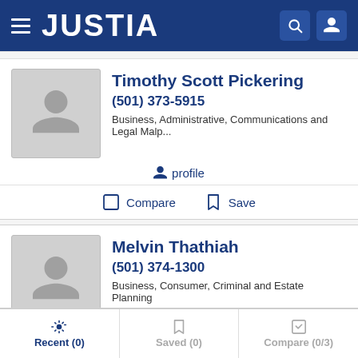JUSTIA
Timothy Scott Pickering
(501) 373-5915
Business, Administrative, Communications and Legal Malp...
profile
Compare  Save
Melvin Thathiah
(501) 374-1300
Business, Consumer, Criminal and Estate Planning
profile
Recent (0)  Saved (0)  Compare (0/3)